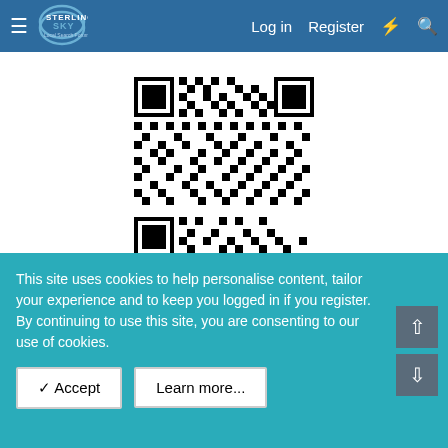Sterling Sky Local Search Forum — Log in | Register
[Figure (other): QR code image — black and white data matrix barcode]
[Figure (other): Local U Advanced Virtual banner advertisement — Learn from Industry-Leading Speakers, Always Unique Content, Full Day of Sessions, Virtual Networking All Day!, BUY TICKETS NOW JUST $125!, Local U Advanced Virtual 11/2/22]
< Local Search
This site uses cookies to help personalise content, tailor your experience and to keep you logged in if you register.
By continuing to use this site, you are consenting to our use of cookies.
✓ Accept
Learn more...